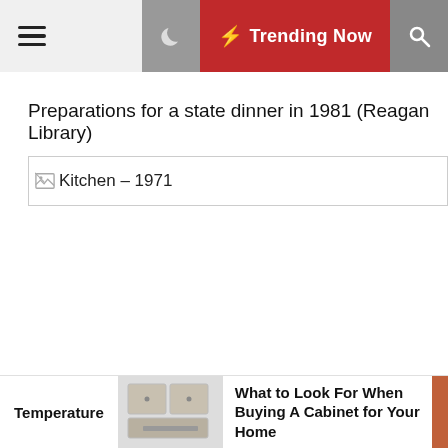☰  [moon icon]  ⚡ Trending Now  [search icon]
Preparations for a state dinner in 1981 (Reagan Library)
[Figure (photo): Broken image placeholder with alt text: Kitchen – 1971]
Temperature
[Figure (photo): Thumbnail of a kitchen cabinet]
What to Look For When Buying A Cabinet for Your Home